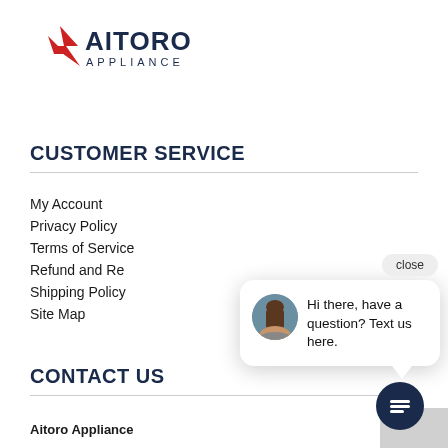[Figure (logo): Aitoro Appliance logo with red arrow/star and dark blue text]
CUSTOMER SERVICE
My Account
Privacy Policy
Terms of Service
Refund and Re[turns]
Shipping Policy
Site Map
[Figure (screenshot): Chat popup overlay with close button, avatar photo of a woman, and message: Hi there, have a question? Text us here.]
CONTACT US
Aitoro Appliance